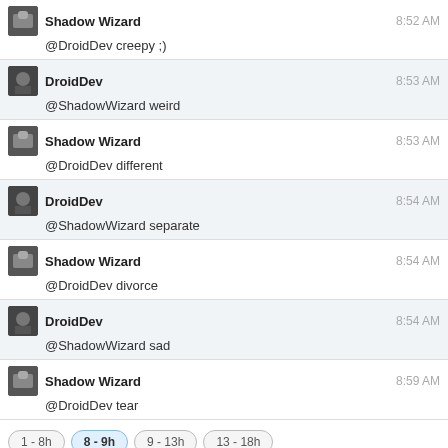Shadow Wizard 8:52 AM @DroidDev creepy ;)
DroidDev 8:53 AM @ShadowWizard weird
Shadow Wizard 8:53 AM @DroidDev different
DroidDev 8:54 AM @ShadowWizard separate
Shadow Wizard 8:54 AM @DroidDev divorce
DroidDev 8:54 AM @ShadowWizard sad
Shadow Wizard 8:59 AM @DroidDev tear
1 - 8h | 8 - 9h | 9 - 13h | 13 - 18h
← prev day | next day → | last day »
join this room